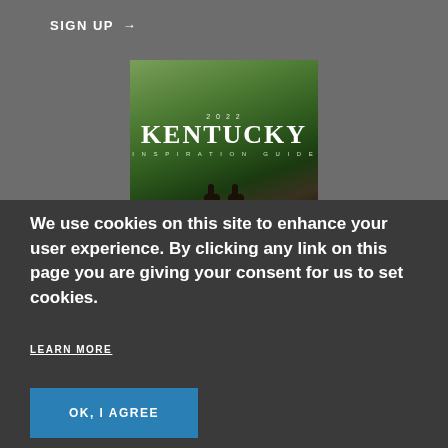SIGN UP →
[Figure (photo): 2022 Kentucky Inspiration Guide book cover with forest/nature background and horse silhouettes at bottom]
We use cookies on this site to enhance your user experience. By clicking any link on this page you are giving your consent for us to set cookies.
LEARN MORE
OK, I AGREE